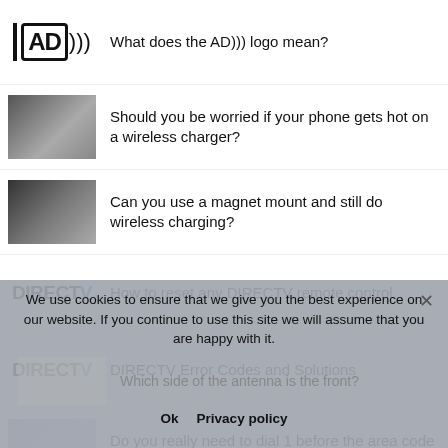What does the AD))) logo mean?
Should you be worried if your phone gets hot on a wireless charger?
Can you use a magnet mount and still do wireless charging?
How to reset any DIRECTV remote control
DIRECTV Error Codes and Solutions
Do you really need to dial 1 before the area code (if you're on a cell phone?)
Why do phones have the * and # buttons? (And why do they call the # button
“pound?”)
We use cookies to ensure that we give you the best experience on our website. If you continue to use this site we will assume that you are happy with it.
Which side of the antenna is the front?
Ok   Privacy policy